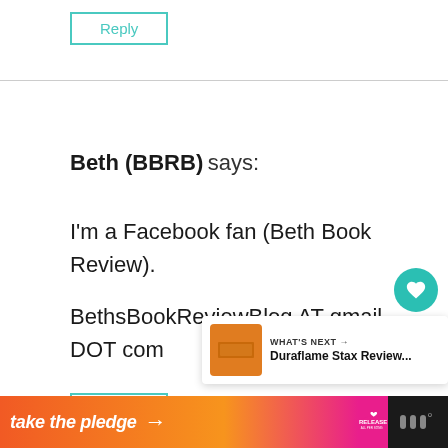Reply
Beth (BBRB) says:
I'm a Facebook fan (Beth Book Review).
BethsBookReviewBlog AT gmail DOT com
Reply